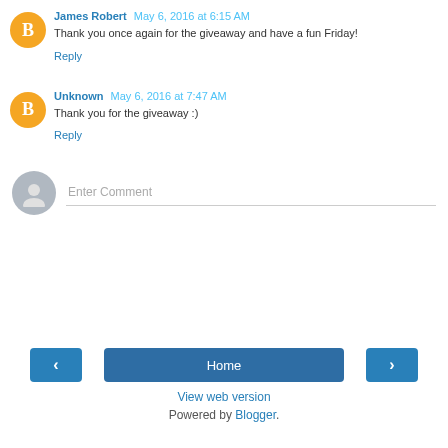James Robert May 6, 2016 at 6:15 AM
Thank you once again for the giveaway and have a fun Friday!
Reply
Unknown May 6, 2016 at 7:47 AM
Thank you for the giveaway :)
Reply
Enter Comment
Home
View web version
Powered by Blogger.